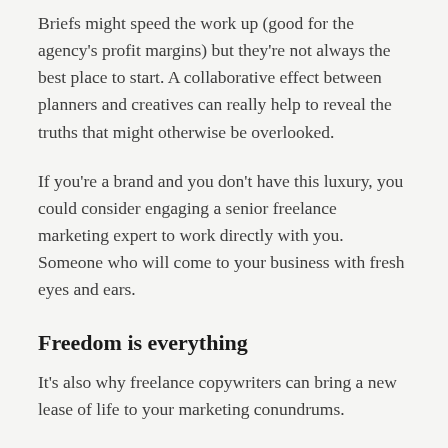Briefs might speed the work up (good for the agency's profit margins) but they're not always the best place to start. A collaborative effect between planners and creatives can really help to reveal the truths that might otherwise be overlooked.
If you're a brand and you don't have this luxury, you could consider engaging a senior freelance marketing expert to work directly with you. Someone who will come to your business with fresh eyes and ears.
Freedom is everything
It's also why freelance copywriters can bring a new lease of life to your marketing conundrums.
We aren't bogged down by years of office politics or hierarchical issues – we bring fresh eyes to the project and can work wonders where agencies can be, although not always, more cumbersome in their approach.